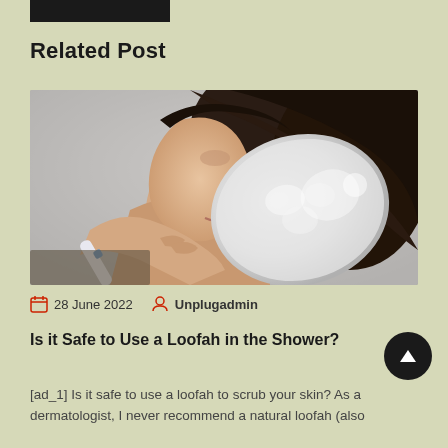Related Post
[Figure (photo): A woman in a shower holding a large white loofah or bath brush, side profile view, relaxed expression, dark hair.]
28 June 2022  Unplugadmin
Is it Safe to Use a Loofah in the Shower?
[ad_1] Is it safe to use a loofah to scrub your skin? As a dermatologist, I never recommend a natural loofah (also